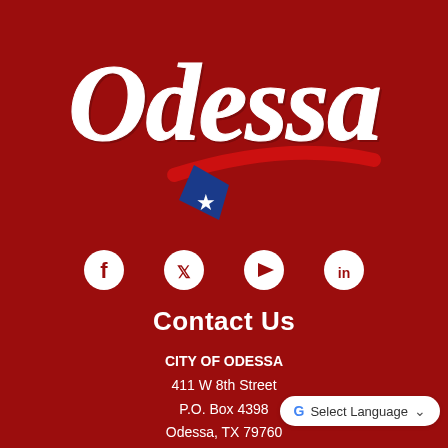[Figure (logo): City of Odessa logo: large white script 'Odessa' text above a blue diamond shape with a white star and a red swoosh arc on a dark red background]
[Figure (infographic): Row of four white social media icons on dark red background: Facebook, Twitter, YouTube, LinkedIn]
Contact Us
CITY OF ODESSA
411 W 8th Street
P.O. Box 4398
Odessa, TX 79760
Select Language